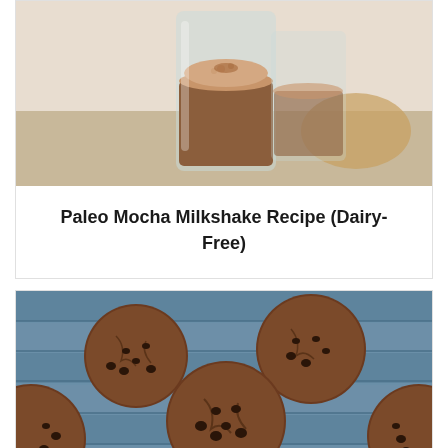[Figure (photo): A glass of paleo mocha milkshake with a creamy brown top, on a light background]
Paleo Mocha Milkshake Recipe (Dairy-Free)
[Figure (photo): Several paleo double chocolate chip cookies on a rustic blue wooden surface]
Paleo Double Chocolate Chip Cookies Recipe